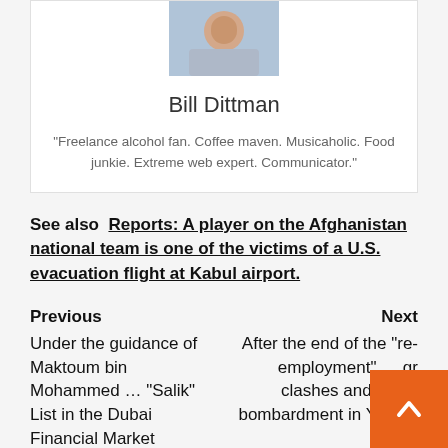[Figure (photo): Headshot photo of Bill Dittman in a white jacket]
Bill Dittman
"Freelance alcohol fan. Coffee maven. Musicaholic. Food junkie. Extreme web expert. Communicator."
See also  Reports: A player on the Afghanistan national team is one of the victims of a U.S. evacuation flight at Kabul airport.
Previous
Under the guidance of Maktoum bin Mohammed … "Salik" List in the Dubai Financial Market
Next
After the end of the "re-employment" … ground clashes and aerial bombardment in Yemen